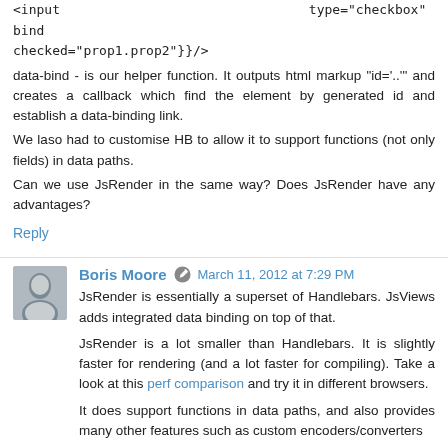<input                    type="checkbox"                    {{data-bind checked="prop1.prop2"}}/>
data-bind - is our helper function. It outputs html markup "id='...'" and creates a callback which find the element by generated id and establish a data-binding link.
We laso had to customise HB to allow it to support functions (not only fields) in data paths.
Can we use JsRender in the same way? Does JsRender have any advantages?
Reply
Boris Moore  March 11, 2012 at 7:29 PM
JsRender is essentially a superset of Handlebars. JsViews adds integrated data binding on top of that.
JsRender is a lot smaller than Handlebars. It is slightly faster for rendering (and a lot faster for compiling). Take a look at this perf comparison and try it in different browsers.
It does support functions in data paths, and also provides many other features such as custom encoders/converters